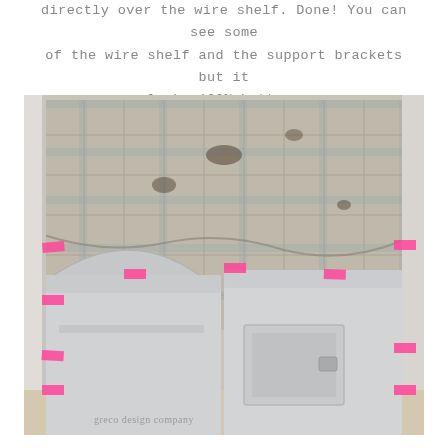directly over the wire shelf. Done! You can see some of the wire shelf and the support brackets but it looks 100% better.
[Figure (photo): A laundry area with a washer and dryer side by side inside a closet. Pink painter's tape is visible along the edges. A plaid/checkered drop cloth or tarp is draped over the back wall, taped with pink tape. The washer lid is open. A watermark reads 'greco design company' at the bottom left.]